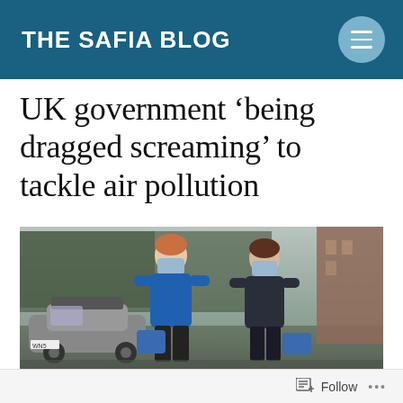THE SAFIA BLOG
UK government ‘being dragged screaming’ to tackle air pollution
[Figure (photo): Two children wearing blue face masks walking outdoors, one in a blue school jumper and one in a dark jacket, carrying blue school bags. A car and trees are visible in the background.]
Follow ...